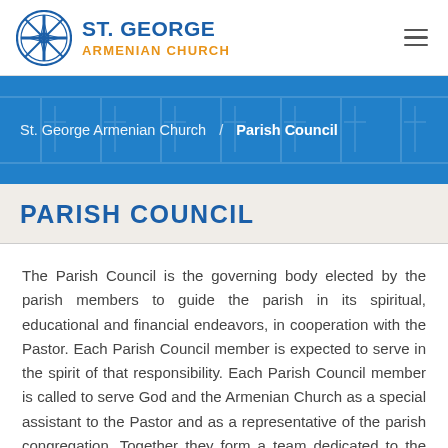ST. GEORGE ARMENIAN CHURCH
St. George Armenian Church / Parish Council
PARISH COUNCIL
The Parish Council is the governing body elected by the parish members to guide the parish in its spiritual, educational and financial endeavors, in cooperation with the Pastor. Each Parish Council member is expected to serve in the spirit of that responsibility. Each Parish Council member is called to serve God and the Armenian Church as a special assistant to the Pastor and as a representative of the parish congregation. Together they form a team dedicated to the mission of